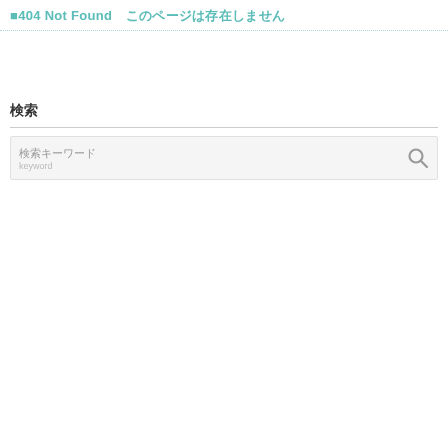404 Not Found　このページは存在しません
検索
[Figure (other): Search input box with magnifying glass icon and placeholder text]